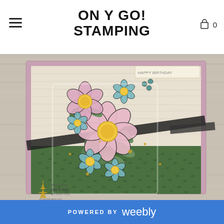ON Y GO! STAMPING
[Figure (photo): A handmade stamping card featuring pink and teal flowers with a dark ribbon, placed on a wood-grain background. The card has a pink border, a green leafy patterned lower section, and a crinkled paper texture upper section. An On Y Go! Stamping watermark logo is visible in the lower left.]
POWERED BY weebly